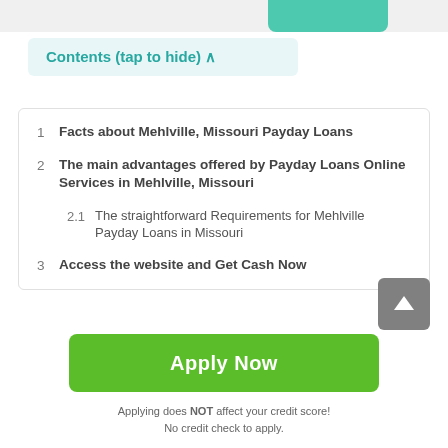Contents (tap to hide) ^
1  Facts about Mehlville, Missouri Payday Loans
2  The main advantages offered by Payday Loans Online Services in Mehlville, Missouri
2.1  The straightforward Requirements for Mehlville Payday Loans in Missouri
3  Access the website and Get Cash Now
Apply Now
Applying does NOT affect your credit score! No credit check to apply.